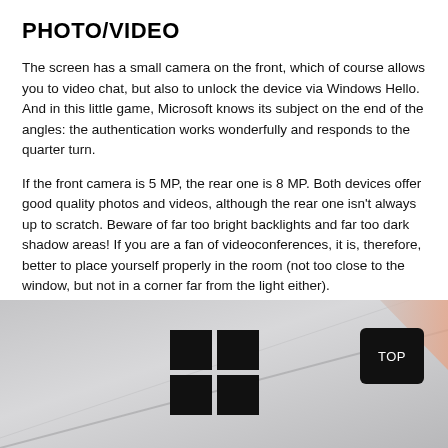PHOTO/VIDEO
The screen has a small camera on the front, which of course allows you to video chat, but also to unlock the device via Windows Hello. And in this little game, Microsoft knows its subject on the end of the angles: the authentication works wonderfully and responds to the quarter turn.
If the front camera is 5 MP, the rear one is 8 MP. Both devices offer good quality photos and videos, although the rear one isn't always up to scratch. Beware of far too bright backlights and far too dark shadow areas! If you are a fan of videoconferences, it is, therefore, better to place yourself properly in the room (not too close to the window, but not in a corner far from the light either).
[Figure (photo): Photo of the back of a Microsoft Surface device showing the Windows logo embossed on a silver/grey surface, with a black rounded-rectangle button labeled TOP in the upper right area of the photo.]